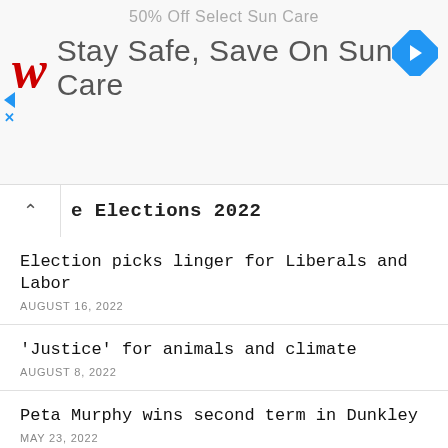[Figure (screenshot): Walgreens advertisement banner with logo and text 'Stay Safe, Save On Sun Care', and '50% Off Select Sun Care' text at top]
e Elections 2022
Election picks linger for Liberals and Labor
AUGUST 16, 2022
'Justice' for animals and climate
AUGUST 8, 2022
Peta Murphy wins second term in Dunkley
MAY 23, 2022
Interview